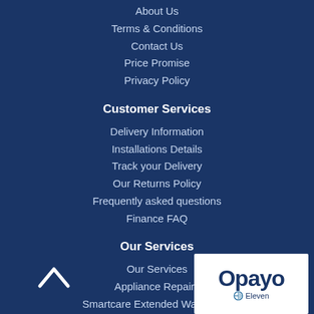About Us
Terms & Conditions
Contact Us
Price Promise
Privacy Policy
Customer Services
Delivery Information
Installations Details
Track your Delivery
Our Returns Policy
Frequently asked questions
Finance FAQ
Our Services
Our Services
Appliance Repairs
Smartcare Extended Warranties
[Figure (logo): Opayo payment logo with Eleven branding on white background]